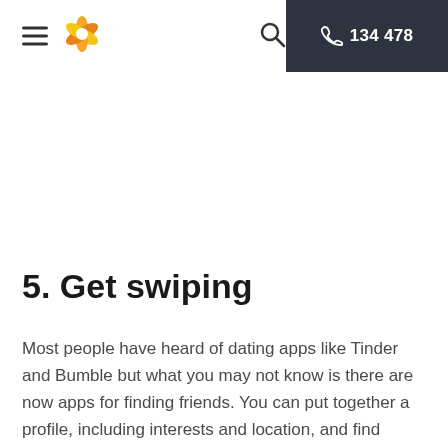☰  [logo]  🔍  📞 134 478
5. Get swiping
Most people have heard of dating apps like Tinder and Bumble but what you may not know is there are now apps for finding friends. You can put together a profile, including interests and location, and find